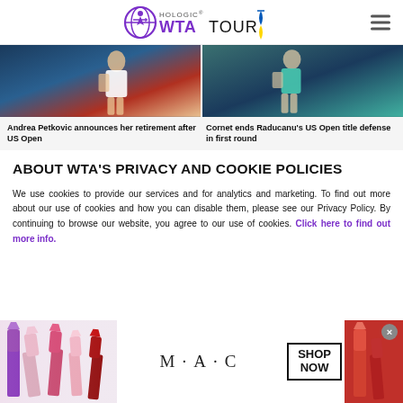HOLOGIC WTA TOUR
[Figure (photo): Two tennis news article images side by side: left shows a female tennis player in white, right shows a female player in teal/green.]
Andrea Petkovic announces her retirement after US Open
Cornet ends Raducanu's US Open title defense in first round
ABOUT WTA'S PRIVACY AND COOKIE POLICIES
We use cookies to provide our services and for analytics and marketing. To find out more about our use of cookies and how you can disable them, please see our Privacy Policy. By continuing to browse our website, you agree to our use of cookies. Click here to find out more info.
[Figure (photo): M·A·C cosmetics advertisement banner with lipstick products and SHOP NOW button.]